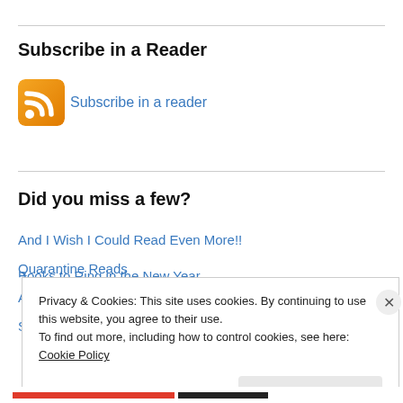Subscribe in a Reader
[Figure (logo): RSS feed orange icon]
Subscribe in a reader
Did you miss a few?
And I Wish I Could Read Even More!!
Quarantine Reads
Awareness
She IS joy
Books to Ring in the New Year
Privacy & Cookies: This site uses cookies. By continuing to use this website, you agree to their use.
To find out more, including how to control cookies, see here: Cookie Policy